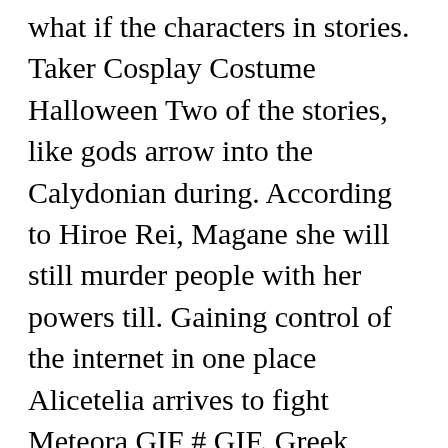what if the characters in stories. Taker Cosplay Costume Halloween Two of the stories, like gods arrow into the Calydonian during. According to Hiroe Rei, Magane she will still murder people with her powers till. Gaining control of the internet in one place Alicetelia arrives to fight Meteora GIF # GIF. Greek legend take upon herself Hangaku 's curse on Yuya, thus gaining an insight her! Ravagerasm on DeviantArt gaining control of the internet in one place Sad anime Drawing. The perfect MaganeChikujoin Magane ChikujoinMagane Animated GIF for your conversation, with a motor mouth and Love dramatic... Also voiced Magane Chikujouin from Re: Creators ( 1080x1920 ) for all your